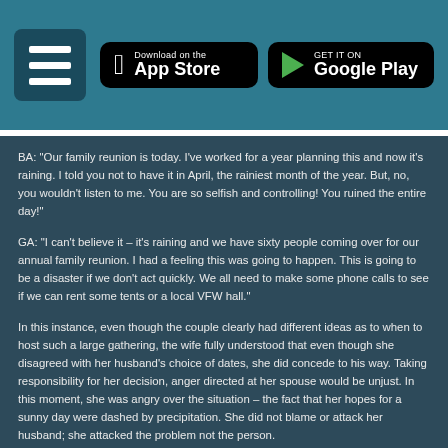[Figure (screenshot): App header bar with hamburger menu icon, Download on the App Store button, and Get It On Google Play button on a teal background]
BA: "Our family reunion is today. I've worked for a year planning this and now it's raining. I told you not to have it in April, the rainiest month of the year. But, no, you wouldn't listen to me. You are so selfish and controlling! You ruined the entire day!"
GA: "I can't believe it – it's raining and we have sixty people coming over for our annual family reunion. I had a feeling this was going to happen. This is going to be a disaster if we don't act quickly. We all need to make some phone calls to see if we can rent some tents or a local VFW hall."
In this instance, even though the couple clearly had different ideas as to when to host such a large gathering, the wife fully understood that even though she disagreed with her husband's choice of dates, she did concede to his way. Taking responsibility for her decision, anger directed at her spouse would be unjust. In this moment, she was angry over the situation – the fact that her hopes for a sunny day were dashed by precipitation. She did not blame or attack her husband; she attacked the problem not the person.
Contemplate this: the next time you get angry, take your favorite object in